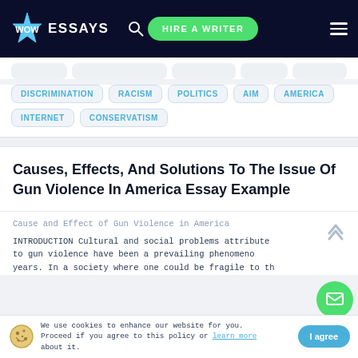WOW ESSAYS | HIRE A WRITER
DISCRIMINATION
RACISM
POLITICS
AIM
AMERICA
INTERNET
CONSERVATISM
Causes, Effects, And Solutions To The Issue Of Gun Violence In America Essay Example
Cause and Effect of Gun Violence in America
INTRODUCTION Cultural and social problems attributed to gun violence have been a prevailing phenomenon years. In a society where one could be fragile to th
We use cookies to enhance our website for you. Proceed if you agree to this policy or learn more about it. | I agree